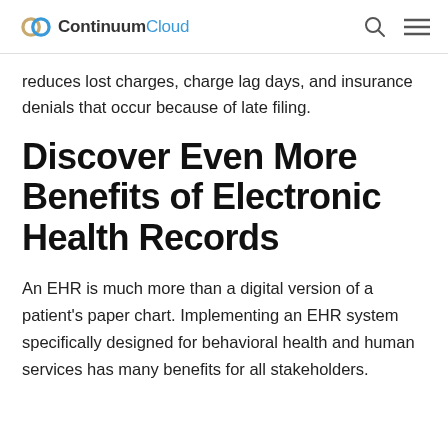ContinuumCloud
reduces lost charges, charge lag days, and insurance denials that occur because of late filing.
Discover Even More Benefits of Electronic Health Records
An EHR is much more than a digital version of a patient's paper chart. Implementing an EHR system specifically designed for behavioral health and human services has many benefits for all stakeholders.